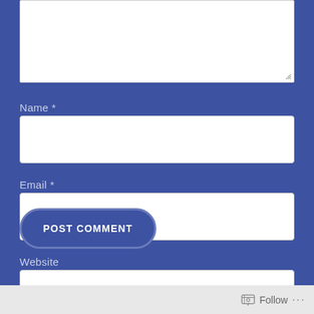[Figure (screenshot): Web form with blue background showing a comment form with textarea (partially visible at top), Name field with label and text input, Email field with label and text input, Website field with label and text input, and a POST COMMENT button with rounded rectangle style. A light gray footer bar at the bottom contains a Follow icon and text.]
Name *
Email *
Website
POST COMMENT
Follow